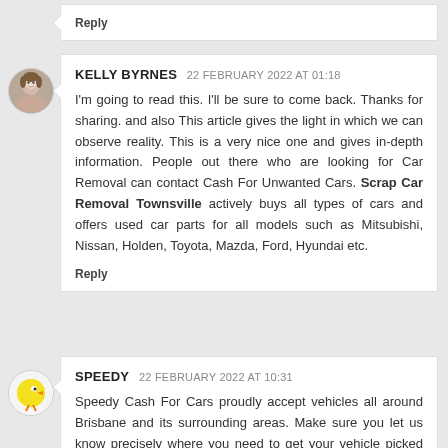Reply
KELLY BYRNES 22 FEBRUARY 2022 AT 01:18
I'm going to read this. I'll be sure to come back. Thanks for sharing. and also This article gives the light in which we can observe reality. This is a very nice one and gives in-depth information. People out there who are looking for Car Removal can contact Cash For Unwanted Cars. Scrap Car Removal Townsville actively buys all types of cars and offers used car parts for all models such as Mitsubishi, Nissan, Holden, Toyota, Mazda, Ford, Hyundai etc.
Reply
SPEEDY 22 FEBRUARY 2022 AT 10:31
Speedy Cash For Cars proudly accept vehicles all around Brisbane and its surrounding areas. Make sure you let us know precisely where you need to get your vehicle picked up from and we will help you take care of it. If you're based in Brisbane then our expert tow drivers also provides Sell Your Car For Cash Brisbane